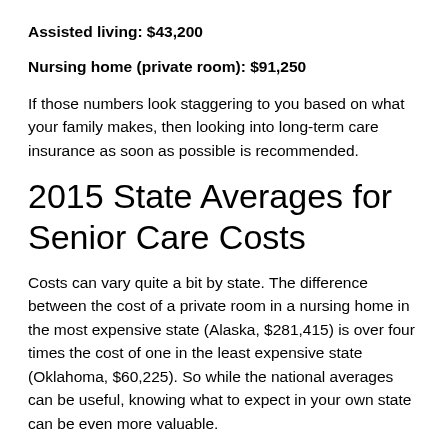Assisted living: $43,200
Nursing home (private room): $91,250
If those numbers look staggering to you based on what your family makes, then looking into long-term care insurance as soon as possible is recommended.
2015 State Averages for Senior Care Costs
Costs can vary quite a bit by state. The difference between the cost of a private room in a nursing home in the most expensive state (Alaska, $281,415) is over four times the cost of one in the least expensive state (Oklahoma, $60,225). So while the national averages can be useful, knowing what to expect in your own state can be even more valuable.
All nursing home numbers provided below are for private